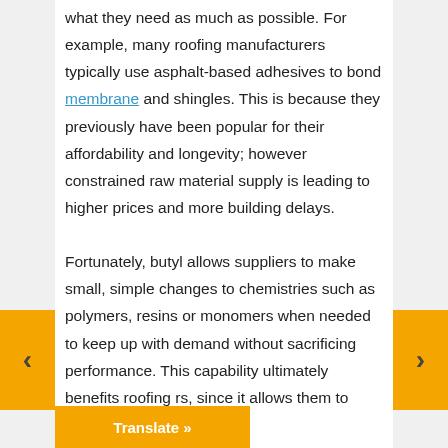what they need as much as possible. For example, many roofing manufacturers typically use asphalt-based adhesives to bond membrane and shingles. This is because they previously have been popular for their affordability and longevity; however constrained raw material supply is leading to higher prices and more building delays.

Fortunately, butyl allows suppliers to make small, simple changes to chemistries such as polymers, resins or monomers when needed to keep up with demand without sacrificing performance. This capability ultimately benefits roofing rs, since it allows them to continue